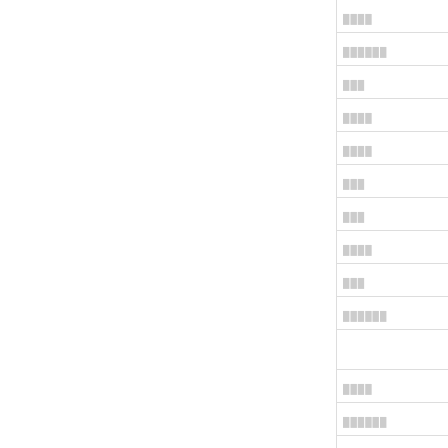| ████ |
| ██████ |
| ███ |
| ████ |
| ████ |
| ███ |
| ███ |
| ████ |
| ███ |
| ██████ |
|  |
| ████ |
| ██████ |